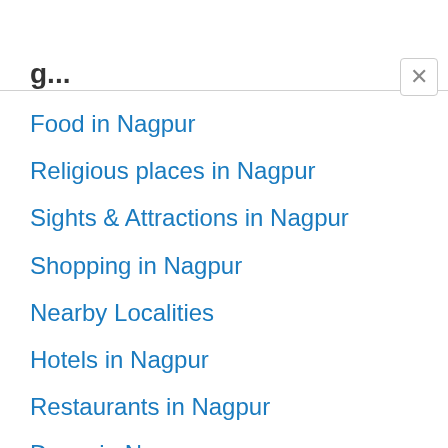g...
Food in Nagpur
Religious places in Nagpur
Sights & Attractions in Nagpur
Shopping in Nagpur
Nearby Localities
Hotels in Nagpur
Restaurants in Nagpur
Dams in Nagpur
Jungle Safari Around Nagpur
Places near Nagpur